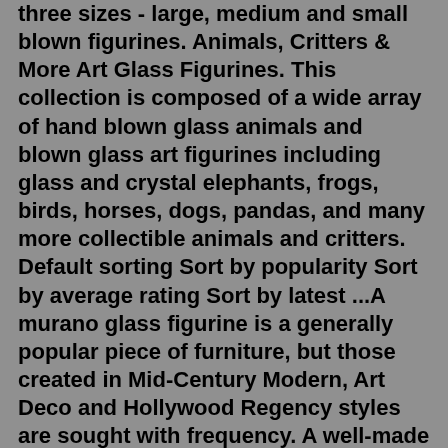three sizes - large, medium and small blown figurines. Animals, Critters & More Art Glass Figurines. This collection is composed of a wide array of hand blown glass animals and blown glass art figurines including glass and crystal elephants, frogs, birds, horses, dogs, pandas, and many more collectible animals and critters. Default sorting Sort by popularity Sort by average rating Sort by latest ...A murano glass figurine is a generally popular piece of furniture, but those created in Mid-Century Modern, Art Deco and Hollywood Regency styles are sought with frequency. A well-made murano glass figurine has long been a part of the offerings for many furniture designers and manufacturers, ...Tooarts Black Mini Cute Cat Figurine Glass Animal Statue Ornament Handmade Blown Glass Cat Figurine Birthday Home Decor. Cyber Monday Deals 2021! Birds Figurine Decor Hand Craft Collectible Art Glass Blown Animal Ornament. Clearance. Add. $15.29. current price $15.29. $25.48. was $25.48.All glass figurines are hand